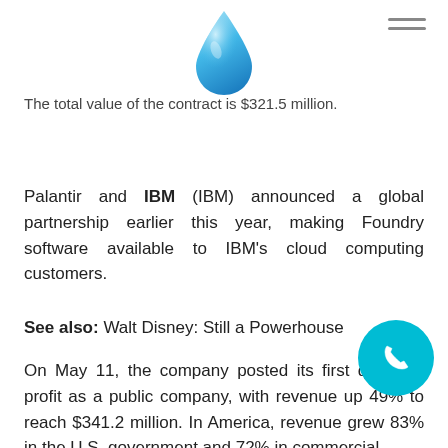[Figure (illustration): Blue water drop icon in the page header center]
The total value of the contract is $321.5 million.
Palantir and IBM (IBM) announced a global partnership earlier this year, making Foundry software available to IBM's cloud computing customers.
See also: Walt Disney: Still a Powerhouse
On May 11, the company posted its first quarterly profit as a public company, with revenue up 49% to reach $341.2 million. In America, revenue grew 83% in the U.S. government and 72% in commercial.
PLTR stock is more than 45% off its January 27 peak but it's up nearly 200% since going public in
[Figure (illustration): Teal circular phone/call button icon in bottom right corner]